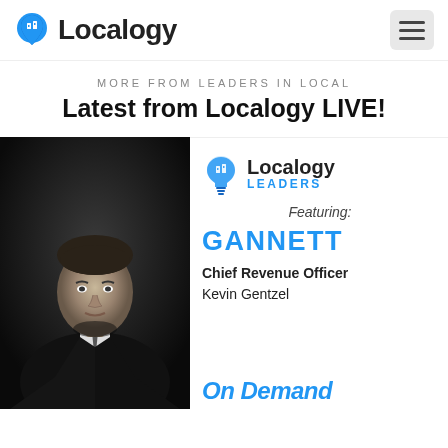Localogy
MORE FROM LEADERS IN LOCAL
Latest from Localogy LIVE!
[Figure (photo): Black and white professional headshot of Kevin Gentzel, Chief Revenue Officer at Gannett, wearing a dark suit and tie]
[Figure (logo): Localogy Leaders logo with lightbulb icon]
Featuring:
GANNETT
Chief Revenue Officer Kevin Gentzel
On Demand